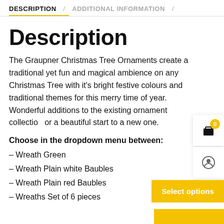DESCRIPTION / ADDITIONAL INFORMATION /
Description
The Graupner Christmas Tree Ornaments create a traditional yet fun and magical ambience on any Christmas Tree with it's bright festive colours and traditional themes for this merry time of year. Wonderful additions to the existing ornament collection or a beautiful start to a new one.
Choose in the dropdown menu between:
– Wreath Green
– Wreath Plain white Baubles
– Wreath Plain red Baubles
– Wreaths Set of 6 pieces